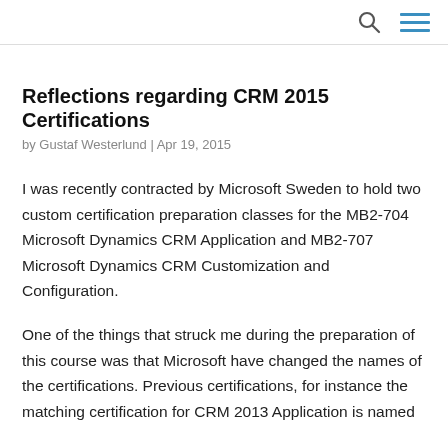🔍 ≡
Reflections regarding CRM 2015 Certifications
by Gustaf Westerlund | Apr 19, 2015
I was recently contracted by Microsoft Sweden to hold two custom certification preparation classes for the MB2-704 Microsoft Dynamics CRM Application and MB2-707 Microsoft Dynamics CRM Customization and Configuration.
One of the things that struck me during the preparation of this course was that Microsoft have changed the names of the certifications. Previous certifications, for instance the matching certification for CRM 2013 Application is named